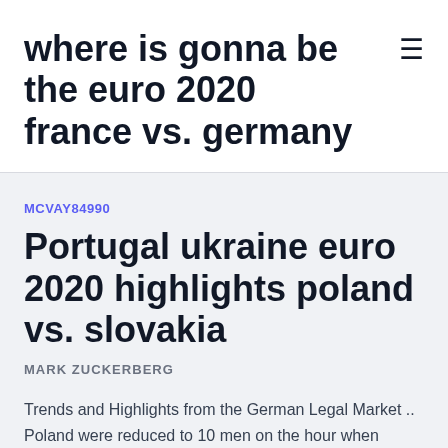where is gonna be the euro 2020 france vs. germany
MCVAY84990
Portugal ukraine euro 2020 highlights poland vs. slovakia
MARK ZUCKERBERG
Trends and Highlights from the German Legal Market .. Poland were reduced to 10 men on the hour when